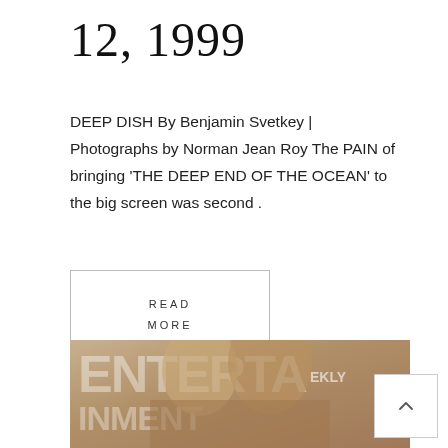12, 1999
DEEP DISH By Benjamin Svetkey | Photographs by Norman Jean Roy The PAIN of bringing 'THE DEEP END OF THE OCEAN' to the big screen was second .
READ MORE
[Figure (photo): Magazine cover photo showing two people (a woman and a man) with Entertainment Weekly masthead visible in background]